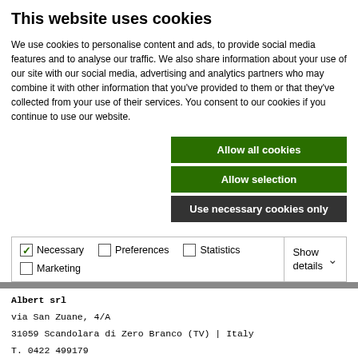This website uses cookies
We use cookies to personalise content and ads, to provide social media features and to analyse our traffic. We also share information about your use of our site with our social media, advertising and analytics partners who may combine it with other information that you've provided to them or that they've collected from your use of their services. You consent to our cookies if you continue to use our website.
[Figure (other): Three cookie consent buttons: 'Allow all cookies' (green), 'Allow selection' (green), 'Use necessary cookies only' (dark/black)]
[Figure (other): Cookie category checkboxes: Necessary (checked), Preferences (unchecked), Statistics (unchecked), Marketing (unchecked), with Show details dropdown on right]
Albert srl
via San Zuane, 4/A
31059 Scandolara di Zero Branco (TV) | Italy
T. 0422 499179
info@albertgelati.com
Informativ